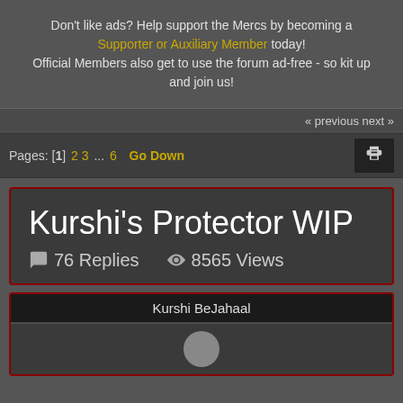Don't like ads? Help support the Mercs by becoming a Supporter or Auxiliary Member today! Official Members also get to use the forum ad-free - so kit up and join us!
« previous next »
Pages: [1] 2 3 ... 6  Go Down
Kurshi's Protector WIP
76 Replies  8565 Views
Kurshi BeJahaal